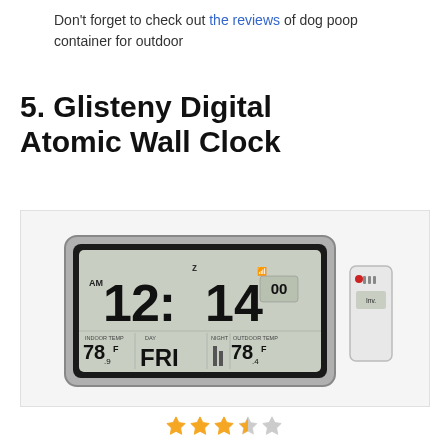Don't forget to check out the reviews of dog poop container for outdoor
5. Glisteny Digital Atomic Wall Clock
[Figure (photo): Product photo of a Glisteny Digital Atomic Wall Clock with LCD display showing 12:14, FRI, indoor temp 78.9°F and outdoor temp 78.4°F, with a separate wireless sensor unit beside it, on a white/light grey background.]
[Figure (other): Star rating showing 3.5 out of 5 stars: 3 full gold stars, 1 half gold star, 1 empty grey star]